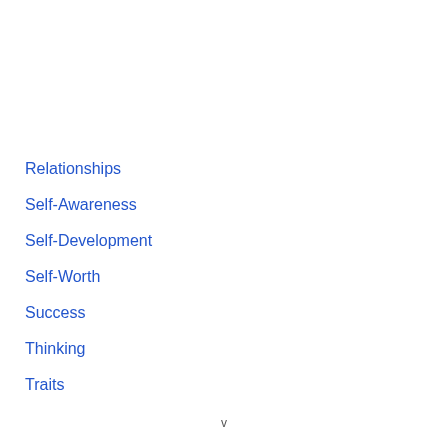Relationships
Self-Awareness
Self-Development
Self-Worth
Success
Thinking
Traits
v